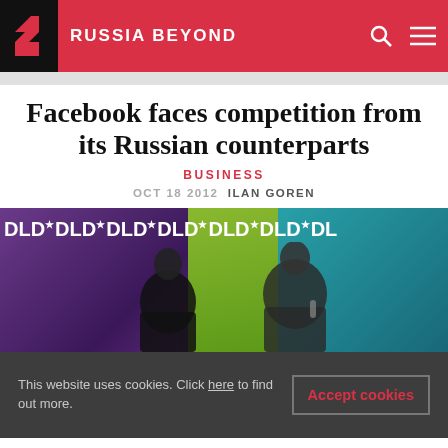RUSSIA BEYOND
Facebook faces competition from its Russian counterparts
BUSINESS
OCT 18 2012  ILAN GOREN
[Figure (photo): Two people on stage at DLD conference, with colorful backdrop showing DLD logos repeated across banner]
This website uses cookies. Click here to find out more.
Accept cookies